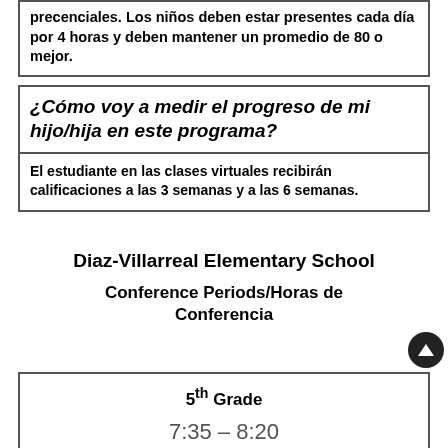precenciales.  Los niños deben estar presentes cada día por 4 horas  y deben mantener un promedio de 80 o mejor.
¿Cómo voy a medir el progreso de mi hijo/hija en este programa?
El estudiante en las clases virtuales recibirán calificaciones a las 3 semanas y a las 6 semanas.
Diaz-Villarreal Elementary School
Conference Periods/Horas de Conferencia
| 5th Grade |  |
| --- | --- |
| 7:35 – 8:20 |  |